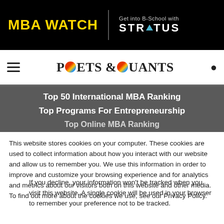[Figure (logo): MBA Watch logo in yellow on black background with Stratus partner logo]
[Figure (logo): Poets & Quants navigation bar with hamburger menu and search icon]
Top 50 International MBA Ranking
Top Programs For Entrepreneurship
Top Online MBA Ranking
This website stores cookies on your computer. These cookies are used to collect information about how you interact with our website and allow us to remember you. We use this information in order to improve and customize your browsing experience and for analytics and metrics about our visitors both on this website and other media. To find out more about the cookies we use, see our Privacy Policy.
If you decline, your information won't be tracked when you visit this website. A single cookie will be used in your browser to remember your preference not to be tracked.